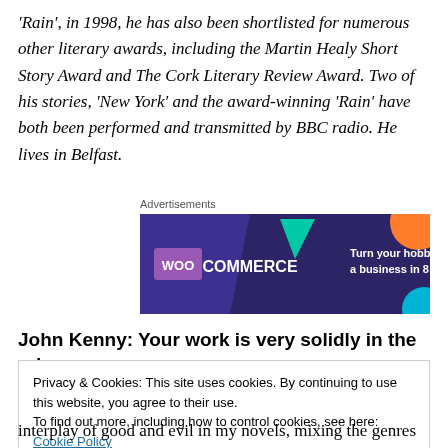'Rain', in 1998, he has also been shortlisted for numerous other literary awards, including the Martin Healy Short Story Award and The Cork Literary Review Award. Two of his stories, 'New York' and the award-winning 'Rain' have both been performed and transmitted by BBC radio. He lives in Belfast.
Advertisements
[Figure (screenshot): WooCommerce advertisement banner with dark purple background, teal and orange geometric shapes, and text 'Turn your hobby into a business in 8 steps']
John Kenny: Your work is very solidly in the crime
Privacy & Cookies: This site uses cookies. By continuing to use this website, you agree to their use.
To find out more, including how to control cookies, see here: Cookie Policy
interplay of good and evil in my novels, mixing the genres